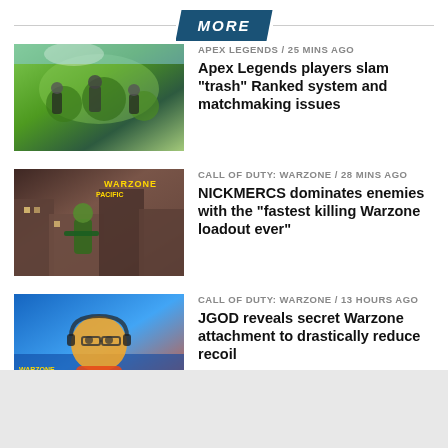MORE
[Figure (photo): Apex Legends characters running in a bright green jungle/fantasy environment]
APEX LEGENDS / 25 mins ago
Apex Legends players slam “trash” Ranked system and matchmaking issues
[Figure (photo): Call of Duty Warzone soldier aiming a weapon in an urban environment with Warzone Pacific branding]
CALL OF DUTY: WARZONE / 28 mins ago
NICKMERCS dominates enemies with the “fastest killing Warzone loadout ever”
[Figure (photo): JGOD streamer with glasses and orange shirt in front of Warzone Pacific background]
CALL OF DUTY: WARZONE / 13 hours ago
JGOD reveals secret Warzone attachment to drastically reduce recoil